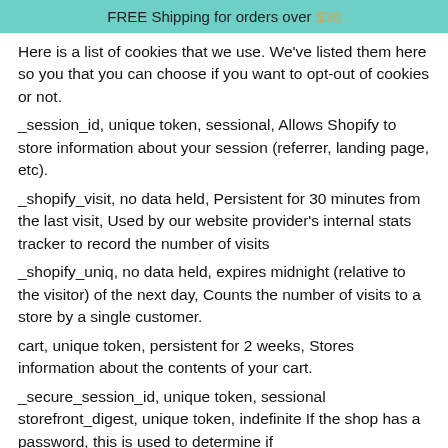FREE Shipping for orders over $30
Here is a list of cookies that we use. We've listed them here so you that you can choose if you want to opt-out of cookies or not.
_session_id, unique token, sessional, Allows Shopify to store information about your session (referrer, landing page, etc).
_shopify_visit, no data held, Persistent for 30 minutes from the last visit, Used by our website provider's internal stats tracker to record the number of visits
_shopify_uniq, no data held, expires midnight (relative to the visitor) of the next day, Counts the number of visits to a store by a single customer.
cart, unique token, persistent for 2 weeks, Stores information about the contents of your cart.
_secure_session_id, unique token, sessional storefront_digest, unique token, indefinite If the shop has a password, this is used to determine if